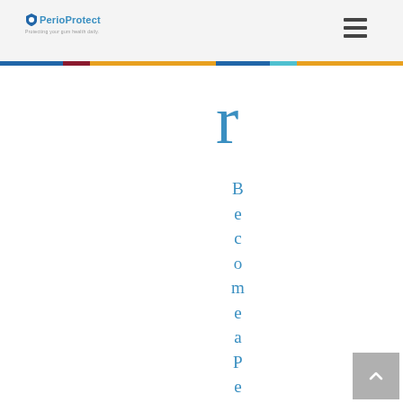PerioProtect — logo and navigation header
[Figure (logo): PerioProtect logo with shield icon and tagline, plus hamburger menu icon on the right]
r
Become a Peri...